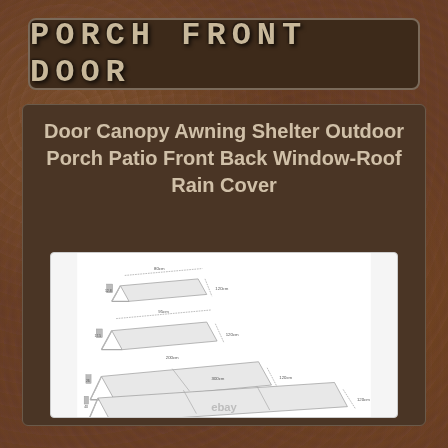PORCH FRONT DOOR
Door Canopy Awning Shelter Outdoor Porch Patio Front Back Window-Roof Rain Cover
[Figure (illustration): Technical diagram showing four door canopy awning shelters of different sizes, displayed from smallest to largest, with dimension annotations indicating width and depth measurements. The awnings are shown in a 3D perspective view mounted on brackets, with transparent/frosted polycarbonate panels.]
ebay